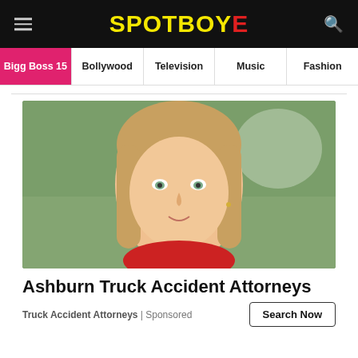SPOTBOYE
Bigg Boss 15 | Bollywood | Television | Music | Fashion
[Figure (photo): Close-up portrait of a young woman with long blonde hair and green eyes, wearing a red outfit, against a blurred outdoor background]
Ashburn Truck Accident Attorneys
Truck Accident Attorneys | Sponsored
Search Now